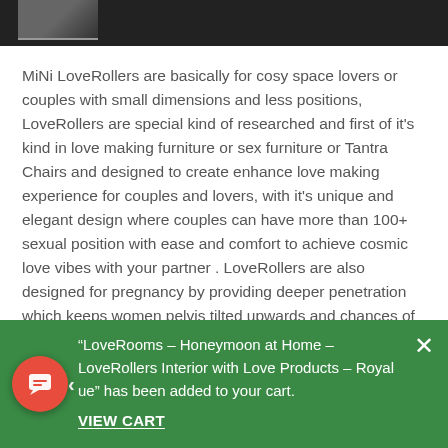MiNi LoveRollers are basically for cosy space lovers or couples with small dimensions and less positions, LoveRollers are special kind of researched and first of it's kind in love making furniture or sex furniture or Tantra Chairs and designed to create enhance love making experience for couples and lovers, with it's unique and elegant design where couples can have more than 100+ sexual position with ease and comfort to achieve cosmic love vibes with your partner . LoveRollers are also designed for pregnancy by providing deeper penetration which keeps women pelvis tilted upwards and chances of conception are high for conceiving baby. LoveRollers also help in period pain relief and breast feeding
Tags   LoveRollers  SPA  Resort and  Hotels furniture
“LoveRooms – Honeymoon at Home – LoveRollers Interior with Love Products – Royal ue” has been added to your cart.
VIEW CART